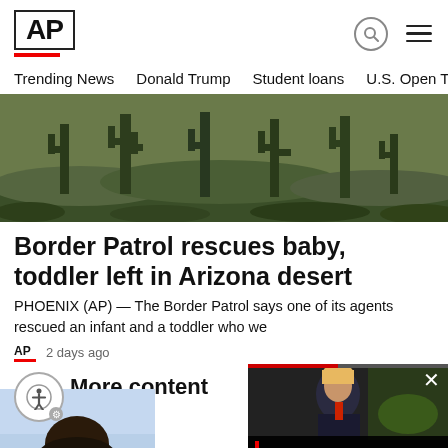AP
Trending News   Donald Trump   Student loans   U.S. Open Tenn
[Figure (photo): Desert landscape with saguaro cacti and green vegetation]
Border Patrol rescues baby, toddler left in Arizona desert
PHOENIX (AP) — The Border Patrol says one of its agents rescued an infant and a toddler who we
2 days ago
More content
[Figure (photo): Person photographed from below against blue sky]
[Figure (screenshot): Video overlay showing Trump search news: Trumpsearch:Wha...]